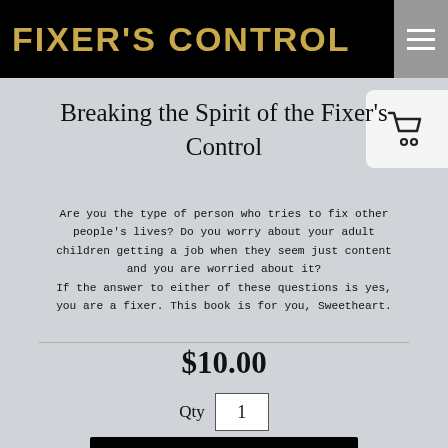FIXER'S CONTROL
Breaking the Spirit of the Fixer's Control
Are you the type of person who tries to fix other people's lives? Do you worry about your adult children getting a job when they seem just content and you are worried about it? If the answer to either of these questions is yes, you are a fixer. This book is for you, Sweetheart.
$10.00
Qty  1
Add to cart